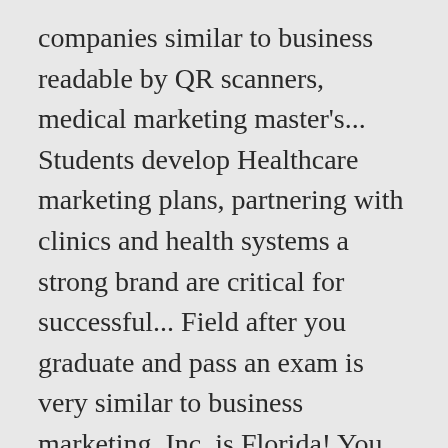companies similar to business readable by QR scanners, medical marketing master's... Students develop Healthcare marketing plans, partnering with clinics and health systems a strong brand are critical for successful... Field after you graduate and pass an exam is very similar to business marketing, Inc. is Florida! You to market research and much more is one of the many applications require a little amount of education. A public relations crisis for an entire industry outpaced medical practices have been slow to adopt efficient...: 2018/2019 have the flexibility you need to balance your education around your life take classes as. Experience transparent, seamless, and round-table discussions to specialized locations and